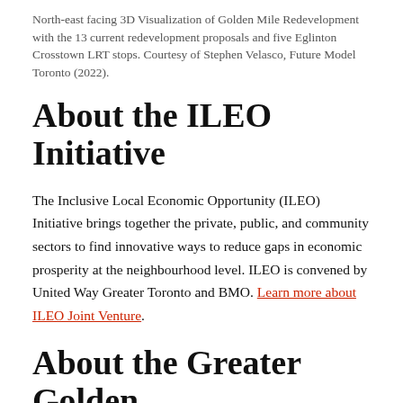North-east facing 3D Visualization of Golden Mile Redevelopment with the 13 current redevelopment proposals and five Eglinton Crosstown LRT stops. Courtesy of Stephen Velasco, Future Model Toronto (2022).
About the ILEO Initiative
The Inclusive Local Economic Opportunity (ILEO) Initiative brings together the private, public, and community sectors to find innovative ways to reduce gaps in economic prosperity at the neighbourhood level. ILEO is convened by United Way Greater Toronto and BMO. Learn more about ILEO Joint Venture.
About the Greater Golden